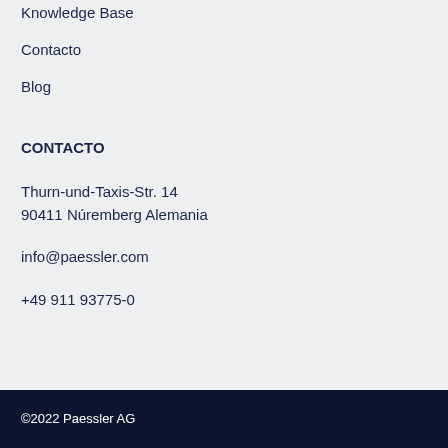Knowledge Base
Contacto
Blog
CONTACTO
Thurn-und-Taxis-Str. 14
90411 Núremberg Alemania
info@paessler.com
+49 911 93775-0
©2022 Paessler AG